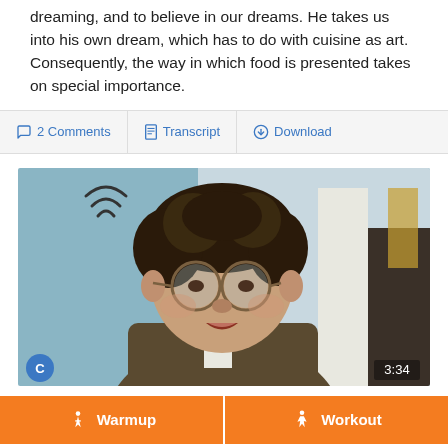dreaming, and to believe in our dreams. He takes us into his own dream, which has to do with cuisine as art. Consequently, the way in which food is presented takes on special importance.
2 Comments | Transcript | Download
[Figure (photo): Video thumbnail showing a man with round glasses and curly dark hair wearing a brown suit and red bow tie. A 'C' badge appears in the bottom left and a timestamp of 3:34 in the bottom right.]
Warmup | Workout